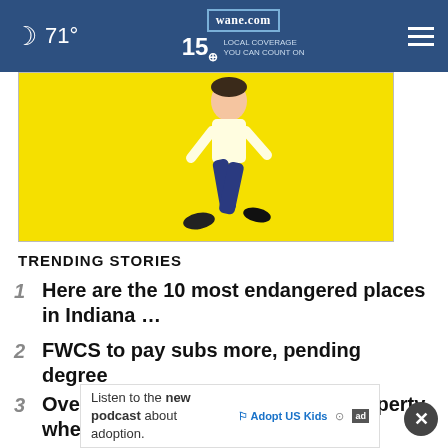71° wane.com 15 LOCAL COVERAGE YOU CAN COUNT ON
[Figure (illustration): Advertisement banner with yellow background showing an animated person walking in blue pants and white top]
TRENDING STORIES
1 Here are the 10 most endangered places in Indiana ...
2 FWCS to pay subs more, pending degree
3 Over 1,000 guns found on Ohio property where officers ...
4 (partially visible/faded item)
Listen to the new podcast about adoption. Adopt US Kids